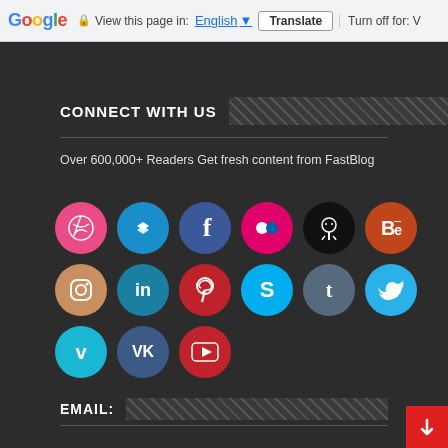Google  View this page in: English [▼]  Translate  Turn off for: V
CONNECT WITH US
Over 600,000+ Readers Get fresh content from FastBlog
[Figure (other): Grid of 15 social media icon circles: Dribbble, Dropbox, Facebook, Flickr, GitHub, Behance, Instagram, LinkedIn, Pinterest, Skype, Tumblr, Twitter, Vimeo, VK, YouTube]
EMAIL: